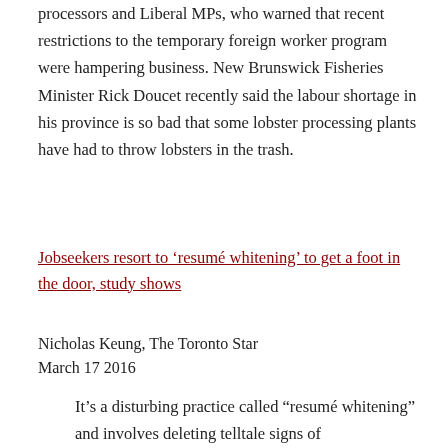processors and Liberal MPs, who warned that recent restrictions to the temporary foreign worker program were hampering business. New Brunswick Fisheries Minister Rick Doucet recently said the labour shortage in his province is so bad that some lobster processing plants have had to throw lobsters in the trash.
Jobseekers resort to ‘resumé whitening’ to get a foot in the door, study shows
Nicholas Keung, The Toronto Star
March 17 2016
It’s a disturbing practice called “resumé whitening” and involves deleting telltale signs of